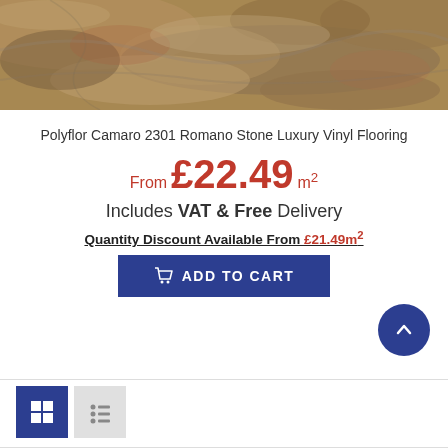[Figure (photo): Close-up photo of Polyflor Camaro 2301 Romano Stone luxury vinyl flooring texture — warm brown, rust, and grey stone pattern]
Polyflor Camaro 2301 Romano Stone Luxury Vinyl Flooring
From £22.49 m²
Includes VAT & Free Delivery
Quantity Discount Available From £21.49m²
ADD TO CART